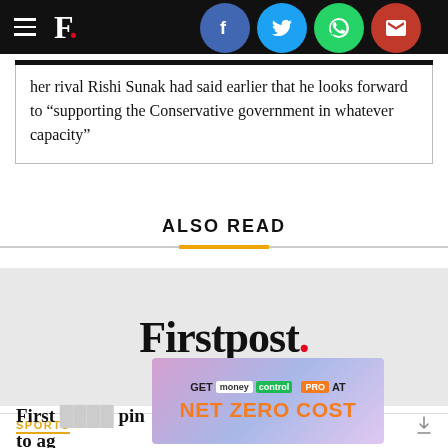F. [Firstpost logo with social share icons: Facebook, Twitter, WhatsApp, Email]
her rival Rishi Sunak had said earlier that he looks forward to “supporting the Conservative government in whatever capacity”
ALSO READ
[Figure (logo): Firstpost. logo in black serif font with red period on light grey background]
SPORTS
[Figure (infographic): Advertisement banner: GET moneycontrol PRO AT NET ZERO COST]
First ... pin to ag...